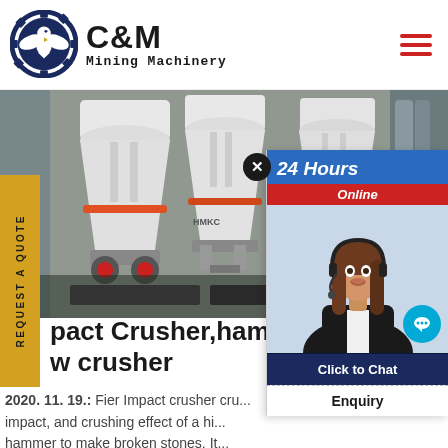[Figure (logo): C&M Mining Machinery logo — circular eagle emblem in navy blue with gear border, company name in bold black text]
[Figure (photo): Industrial mining machinery — large white cone crushers (HMKC brand) in a manufacturing facility]
REQUEST A QUOTE
Impact Crusher,hammer
w crusher
2020. 11. 19.: Fier Impact crusher cru... impact, and crushing effect of a hi... hammer to make broken stones. It...
[Figure (screenshot): 24 Hours Online live chat widget with female customer service agent wearing headset, chat bubble icon, Click to Chat button, and Enquiry section at bottom]